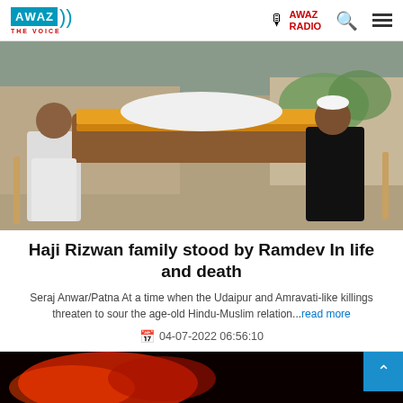AWAZ THE VOICE | AWAZ RADIO
[Figure (photo): Men carrying a funeral bier with marigold garland decoration, outdoor setting with buildings in background]
Haji Rizwan family stood by Ramdev In life and death
Seraj Anwar/Patna At a time when the Udaipur and Amravati-like killings threaten to sour the age-old Hindu-Muslim relation...read more
04-07-2022 06:56:10
[Figure (photo): Dark red/orange background image at bottom of page]